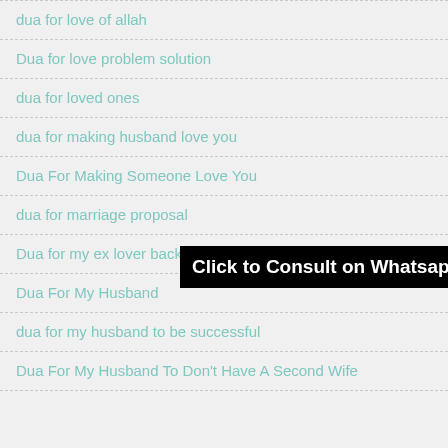dua for love of allah
Dua for love problem solution
dua for loved ones
dua for making husband love you
Dua For Making Someone Love You
dua for marriage proposal
Dua for my ex lover back
Dua For My Husband
dua for my husband to be successful
Dua For My Husband To Don't Have A Second Wife
Click to Consult on Whatsapp